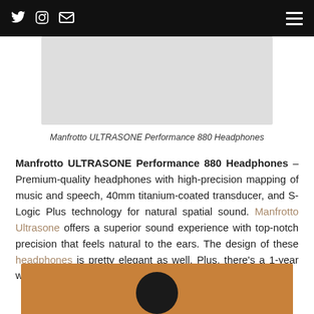Twitter Instagram Email [navigation icons] [hamburger menu]
[Figure (photo): Gray rectangular product image placeholder for Manfrotto ULTRASONE Performance 880 Headphones]
Manfrotto ULTRASONE Performance 880 Headphones
Manfrotto ULTRASONE Performance 880 Headphones – Premium-quality headphones with high-precision mapping of music and speech, 40mm titanium-coated transducer, and S-Logic Plus technology for natural spatial sound. Manfrotto Ultrasone offers a superior sound experience with top-notch precision that feels natural to the ears. The design of these headphones is pretty elegant as well. Plus, there's a 1-year warranty.
[Figure (photo): Orange/tan background photo with dark headphone silhouette, partially visible at bottom of page]